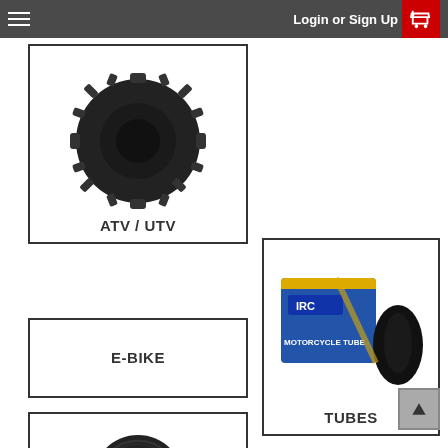Login or Sign Up
[Figure (photo): ATV/UTV off-road tire with aggressive knobby tread pattern]
ATV / UTV
E-BIKE
[Figure (photo): IRC Motorcycle Tube in blue and yellow box with rubber tube alongside]
TUBES
[Figure (photo): Partial view of a road/street tire]